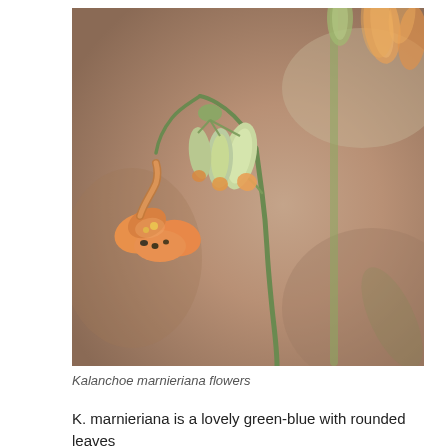[Figure (photo): Close-up photograph of Kalanchoe marnieriana flowers. Drooping tubular flowers with orange tips and pale green/cream buds on a slender green stem, set against a blurred warm brown background. Additional blurred orange-tipped flowers visible in the upper right.]
Kalanchoe marnieriana flowers
K. marnieriana is a lovely green-blue with rounded leaves